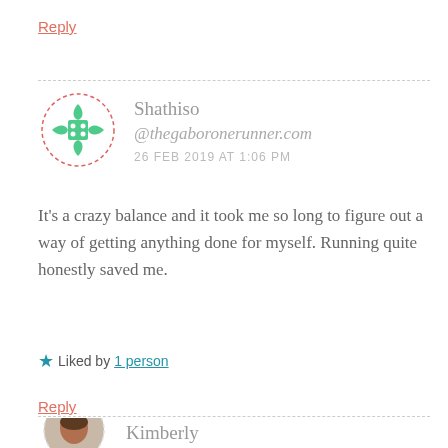Reply
[Figure (illustration): Shathiso commenter avatar: a decorative green geometric icon with a dashed red circular border]
Shathiso
@thegaboronerunner.com
26 FEB 2019 AT 1:06 PM
It's a crazy balance and it took me so long to figure out a way of getting anything done for myself. Running quite honestly saved me.
★ Liked by 1 person
Reply
[Figure (photo): Kimberly Hatting commenter avatar photo (partially visible)]
Kimberly Hatting